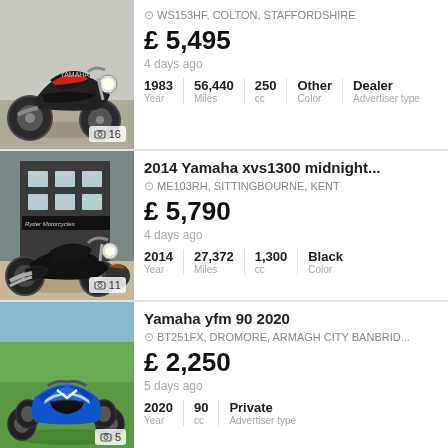[Figure (photo): Black motorcycle (1983 Yamaha 250) parked outdoors, side view. Photo count badge: 16.]
WS153HF, COLTON, STAFFORDSHIRE
£ 5,495
4 days ago
| Year | Miles | cc | Color | Advertiser type |
| --- | --- | --- | --- | --- |
| 1983 | 56,440 | 250 | Other | Dealer |
2014 Yamaha xvs1300 midnight...
[Figure (photo): Black Yamaha XVS1300 cruiser motorcycle parked in front of Ryder Motorcycles dealership. Photo count badge: 11.]
ME103RH, SITTINGBOURNE, KENT
£ 5,790
4 days ago
| Year | Miles | cc | Color |
| --- | --- | --- | --- |
| 2014 | 27,372 | 1,300 | Black |
Yamaha yfm 90 2020
[Figure (photo): Blue Yamaha YFM 90 quad bike / ATV on grass. Photo count badge: 5.]
BT251FX, DROMORE, ARMAGH CITY BANBRID...
£ 2,250
5 days ago
| Year | cc | Advertiser type |
| --- | --- | --- |
| 2020 | 90 | Private |